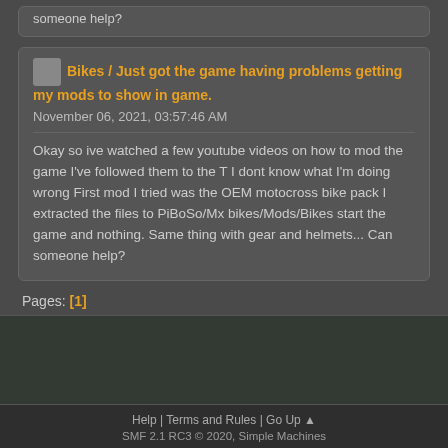someone help?
Bikes / Just got the game having problems getting my mods to show in game.
November 06, 2021, 03:57:46 AM
Okay so ive watched a few youtube videos on how to mod the game I've followed them to the T I dont know what I'm doing wrong First mod I tried was the OEM motocross bike pack I extracted the files to PiBoSo/Mx bikes/Mods/Bikes start the game and nothing. Same thing with gear and helmets... Can someone help?
Pages: [1]
Help | Terms and Rules | Go Up ▲
SMF 2.1 RC3 © 2020, Simple Machines